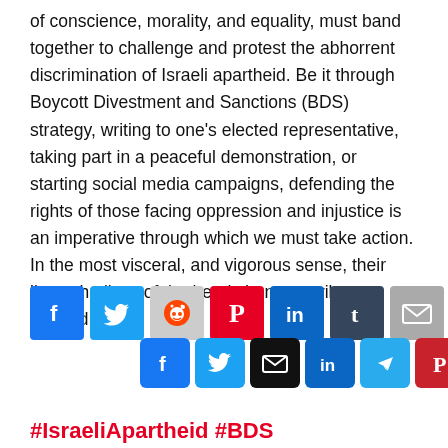of conscience, morality, and equality, must band together to challenge and protest the abhorrent discrimination of Israeli apartheid. Be it through Boycott Divestment and Sanctions (BDS) strategy, writing to one's elected representative, taking part in a peaceful demonstration, or starting social media campaigns, defending the rights of those facing oppression and injustice is an imperative through which we must take action. In the most visceral, and vigorous sense, their lives, the lives of the heroic hunger-strikers, depend on it.
[Figure (infographic): Social media share buttons row 1: Facebook, Twitter, Reddit, Pinterest, LinkedIn, Tumblr, Email]
[Figure (infographic): Social media share buttons row 2: Facebook, Twitter, Email, LinkedIn, Telegram, Pinterest; scroll-to-top red button]
#IsraeliApartheid #BDS...